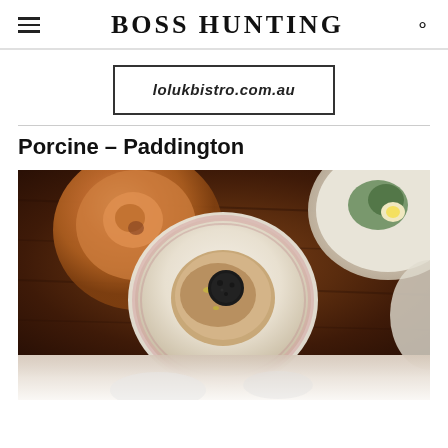BOSS HUNTING
[Figure (other): Advertisement box with URL: lolukbistro.com.au]
Porcine – Paddington
[Figure (photo): Overhead shot of restaurant dishes on a wooden table, including plates with food and a wine glass with rose wine]